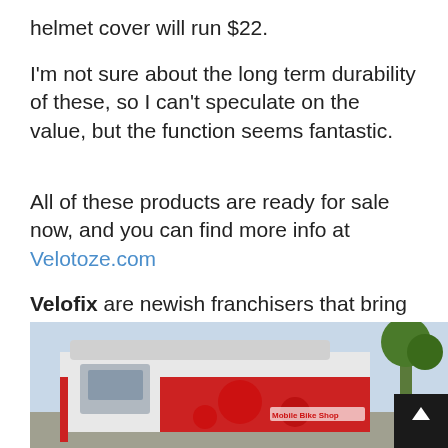helmet cover will run $22.
I'm not sure about the long term durability of these, so I can't speculate on the value, but the function seems fantastic.
All of these products are ready for sale now, and you can find more info at Velotoze.com
Velofix are newish franchisers that bring the bike shop to the customer's front door.
[Figure (photo): A Velofix mobile bike shop van parked outdoors, red and white branded vehicle with 'Mobile Bike Shop' text visible, trees in background, overcast sky.]